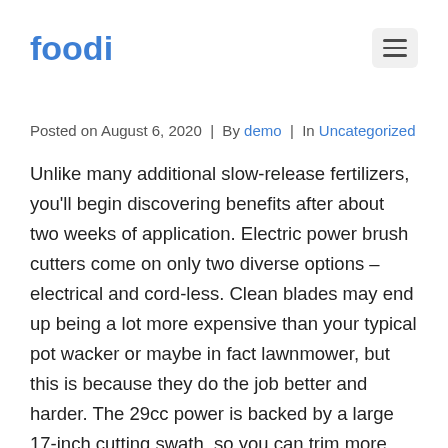foodi
Posted on August 6, 2020  |  By demo  |  In Uncategorized
Unlike many additional slow-release fertilizers, you'll begin discovering benefits after about two weeks of application. Electric power brush cutters come on only two diverse options – electrical and cord-less. Clean blades may end up being a lot more expensive than your typical pot wacker or maybe in fact lawnmower, but this is because they do the job better and harder. The 29cc power is backed by a large 17-inch cutting swath, so you can trim more grass in less time and put your feet up well before sundown. Whether it be a rechargeable thinner, a fuel two-stroke magic size or a four-stroke variation. It's